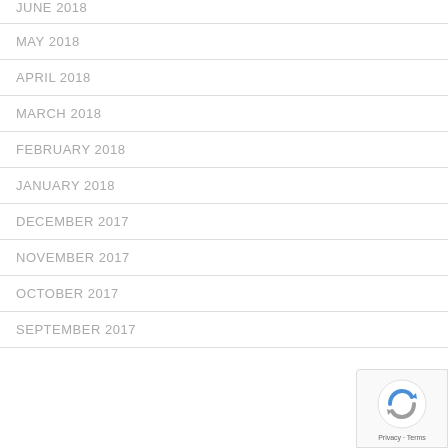JUNE 2018
MAY 2018
APRIL 2018
MARCH 2018
FEBRUARY 2018
JANUARY 2018
DECEMBER 2017
NOVEMBER 2017
OCTOBER 2017
SEPTEMBER 2017
[Figure (logo): reCAPTCHA badge with Privacy and Terms text]